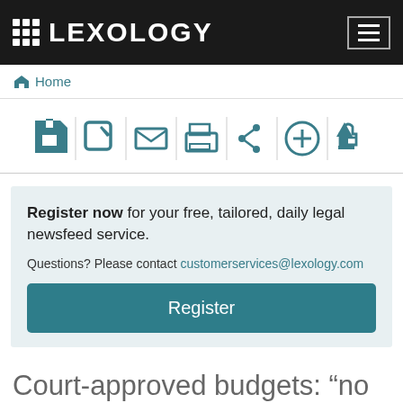LEXOLOGY
Home
[Figure (infographic): Icon toolbar with save, edit, email, print, share, add, and like icons]
Register now for your free, tailored, daily legal newsfeed service. Questions? Please contact customerservices@lexology.com
Register
Court-approved budgets: “no good reason” to depart